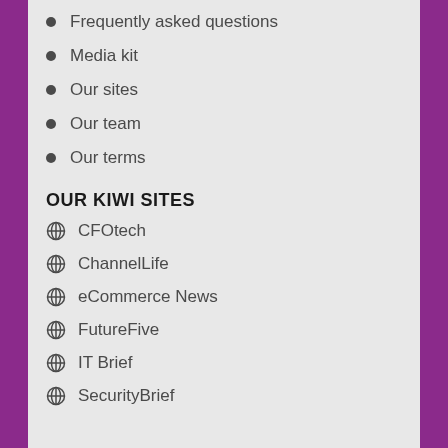Frequently asked questions
Media kit
Our sites
Our team
Our terms
OUR KIWI SITES
CFOtech
ChannelLife
eCommerce News
FutureFive
IT Brief
SecurityBrief